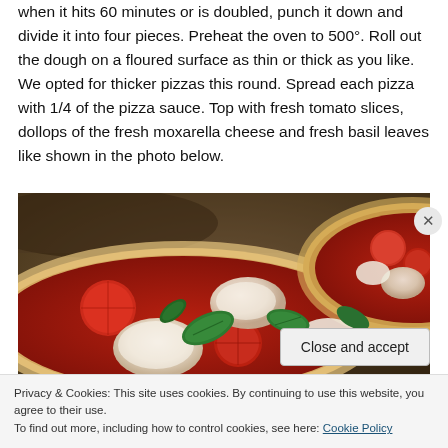when it hits 60 minutes or is doubled, punch it down and divide it into four pieces. Preheat the oven to 500°. Roll out the dough on a floured surface as thin or thick as you like. We opted for thicker pizzas this round. Spread each pizza with 1/4 of the pizza sauce. Top with fresh tomato slices, dollops of the fresh moxarella cheese and fresh basil leaves like shown in the photo below.
[Figure (photo): Close-up photo of a margherita pizza with tomato sauce, fresh mozzarella cheese dollops, and basil leaves on a baking surface, with another pizza visible in the background.]
Privacy & Cookies: This site uses cookies. By continuing to use this website, you agree to their use.
To find out more, including how to control cookies, see here: Cookie Policy
Close and accept